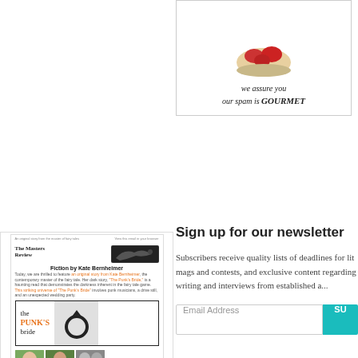[Figure (illustration): Advertisement box with strawberry image and italic text: 'we assure you our spam is GOURMET']
[Figure (illustration): Thumbnail of The Masters Review newsletter featuring 'Fiction by Kate Bernheimer', 'the PUNK'S bride' story cover with ring graphic, and small photo thumbnails at bottom]
Sign up for our newsletter
Subscribers receive quality lists of deadlines for lit mags and contests, and exclusive content regarding writing and interviews from established authors.
Email Address